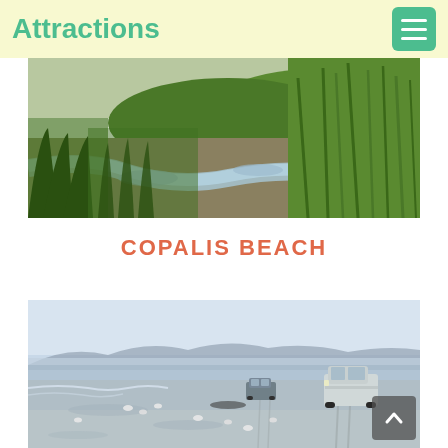Attractions
[Figure (photo): Coastal marsh landscape with stream channel, wet sand, and tall green grass on dunes at Copalis Beach]
COPALIS BEACH
[Figure (photo): Cars driving on the flat sandy beach at Copalis Beach with misty mountains and ocean in the background, seabirds on the wet sand]